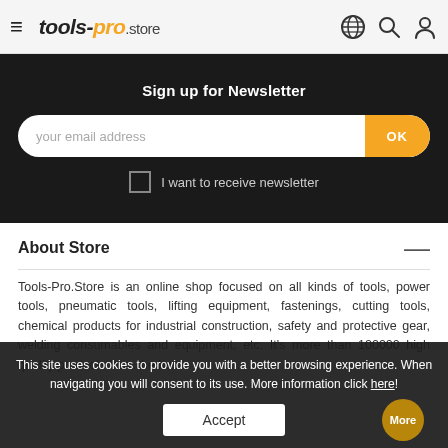tools-pro.store
Sign up for Newsletter
your email address
I want to receive newsletter
About Store
Tools-Pro.Store is an online shop focused on all kinds of tools, power tools, pneumatic tools, lifting equipment, fastenings, cutting tools, chemical products for industrial construction, safety and protective gear, welding consumables and equipment, etc. It's more than 100000 high quality products from the best...
This site uses cookies to provide you with a better browsing experience. When navigating you will consent to its use. More information click here!